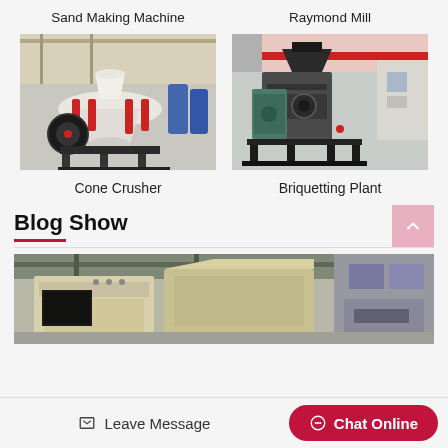Sand Making Machine
[Figure (photo): Sand Making Machine / Cone Crusher - industrial cone crusher machinery in a factory setting, with white body, red hydraulic cylinders, and large black flywheel]
Raymond Mill
[Figure (photo): Raymond Mill / Briquetting Plant - dark grey industrial briquetting plant machine on a metal frame in a factory]
Cone Crusher
Briquetting Plant
Blog Show
[Figure (photo): Blog show featured image - industrial machinery in a factory, cream/beige colored equipment with factory overhead cranes visible]
Leave Message
Chat Online